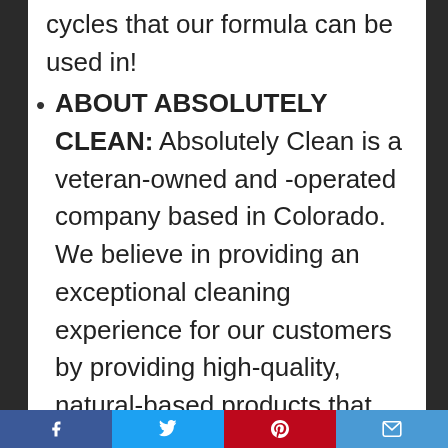cycles that our formula can be used in!
ABOUT ABSOLUTELY CLEAN: Absolutely Clean is a veteran-owned and -operated company based in Colorado. We believe in providing an exceptional cleaning experience for our customers by providing high-quality, natural-based products that are family friendly and safe for kids and pets. No matter what your cleaning needs are, Absolutely Clean has the product for you!
Facebook | Twitter | Pinterest | Email